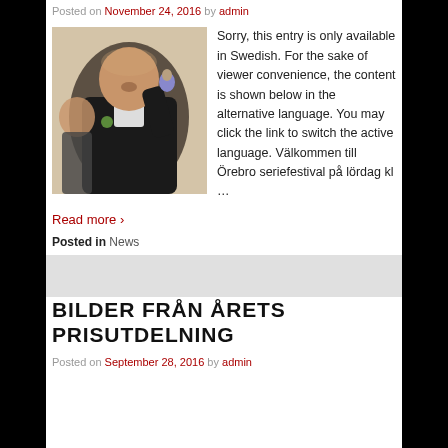Posted on November 24, 2016 by admin
[Figure (photo): Man in dark jacket holding a small figurine/toy, another person partially visible behind him]
Sorry, this entry is only available in Swedish. For the sake of viewer convenience, the content is shown below in the alternative language. You may click the link to switch the active language. Välkommen till Örebro seriefestival på lördag kl …
Read more ›
Posted in News
BILDER FRÅN ÅRETS PRISUTDELNING
Posted on September 28, 2016 by admin